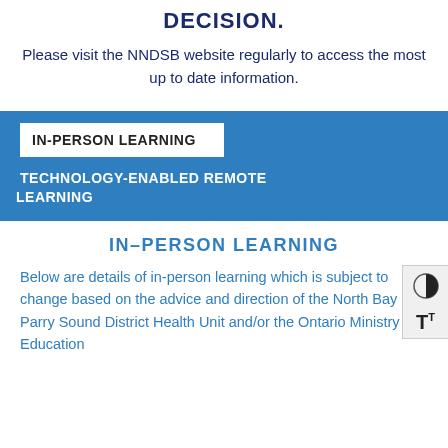DECISION.
Please visit the NNDSB website regularly to access the most up to date information.
IN-PERSON LEARNING
TECHNOLOGY-ENABLED REMOTE LEARNING
IN-PERSON LEARNING
Below are details of in-person learning which is subject to change based on the advice and direction of the North Bay Parry Sound District Health Unit and/or the Ontario Ministry of Education